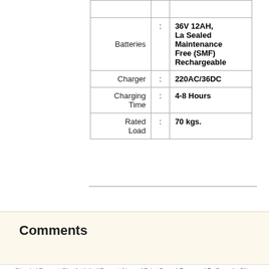|  |  |  |
| Batteries | : | 36V 12AH, La Sealed Maintenance Free (SMF) Rechargeable |
| Charger | : | 220AC/36DC |
| Charging Time | : | 4-8 Hours |
| Rated Load | : | 70 kgs. |
Comments
Sign in | Recent Site Activity | Report Abuse | Print Page | Powered By Google Sites